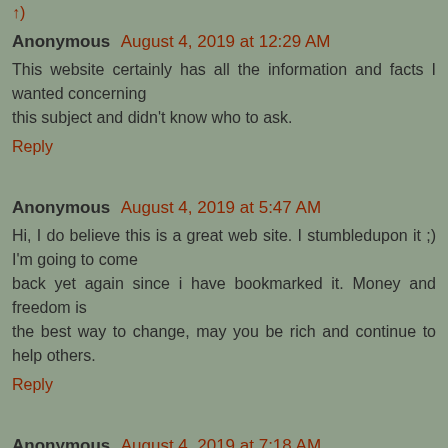Anonymous August 4, 2019 at 12:29 AM
This website certainly has all the information and facts I wanted concerning this subject and didn't know who to ask.
Reply
Anonymous August 4, 2019 at 5:47 AM
Hi, I do believe this is a great web site. I stumbledupon it ;) I'm going to come back yet again since i have bookmarked it. Money and freedom is the best way to change, may you be rich and continue to help others.
Reply
Anonymous August 4, 2019 at 7:18 AM